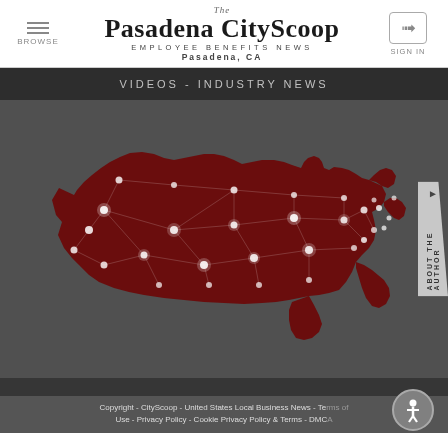The Pasadena CityScoop — EMPLOYEE BENEFITS NEWS — Pasadena, CA
VIDEOS - INDUSTRY NEWS
[Figure (map): Map of the United States rendered with glowing red network nodes and connections on a dark background, showing city and state connections across the country.]
Copyright - CityScoop - United States Local Business News - Terms of Use - Privacy Policy - Cookie Privacy Policy & Terms - DMCA